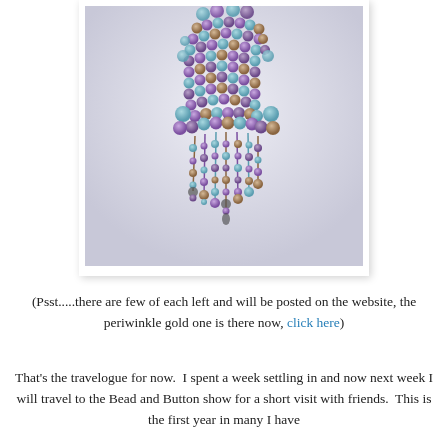[Figure (photo): A beaded tassel or jewelry piece with purple, turquoise, and gold beads hanging down, photographed against a light grey/white background. The top portion is a cylindrical beaded body and the bottom has fringe strands with beads.]
(Psst.....there are few of each left and will be posted on the website, the periwinkle gold one is there now, click here)
That's the travelogue for now.  I spent a week settling in and now next week I will travel to the Bead and Button show for a short visit with friends.  This is the first year in many I have